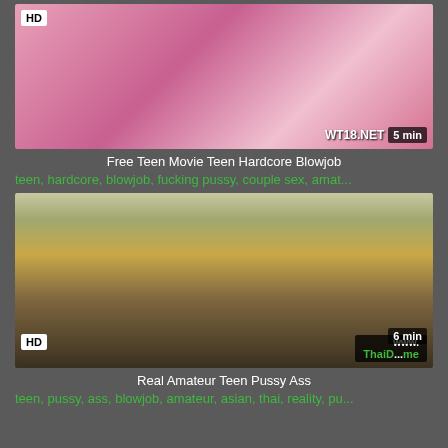[Figure (screenshot): Video thumbnail 1: HD tagged video, 5 min duration, watermark WT18.NET, pink toned image]
Free Teen Movie Teen Hardcore Blowjob
teen, hardcore, blowjob, fucking pussy, couple sex, amat...
[Figure (screenshot): Video thumbnail 2: HD tagged video, 6 min duration, watermark ThaiD...me/www, outdoor scene with person on motorcycle on dirt road at sunset]
Real Amateur Teen Pussy Ass
teen, pussy, ass, blowjob, amateur, asian, thai, reality, pu...